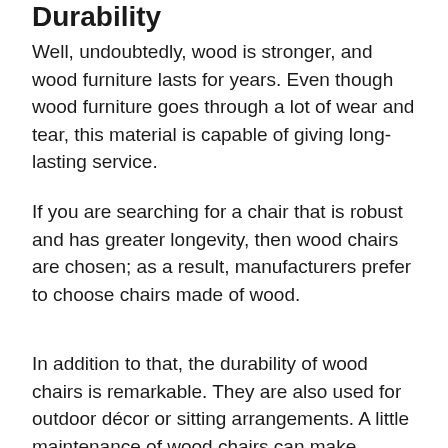Durability
Well, undoubtedly, wood is stronger, and wood furniture lasts for years. Even though wood furniture goes through a lot of wear and tear, this material is capable of giving long-lasting service.
If you are searching for a chair that is robust and has greater longevity, then wood chairs are chosen; as a result, manufacturers prefer to choose chairs made of wood.
In addition to that, the durability of wood chairs is remarkable. They are also used for outdoor décor or sitting arrangements. A little maintenance of wood chairs can make